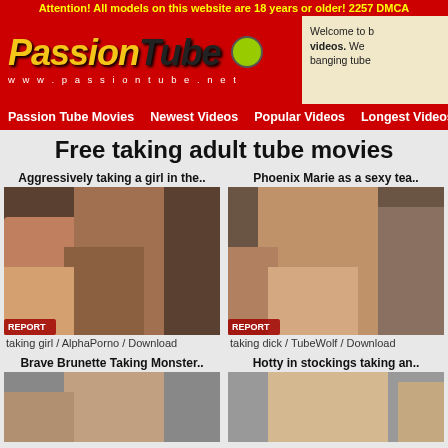Attention! All models on this website are 18 years or older! 2257 DMCA
[Figure (logo): PassionTube logo with yellow and dark italic text on red background, smiley TV mascot, URL www.passiontube.net]
Welcome to b... videos. We... banging tube...
Passion Tube Movies | Newest Videos | Popular Videos | Longest Videos
Free taking adult tube movies
Aggressively taking a girl in the..
[Figure (photo): Explicit adult video thumbnail with REPORT badge]
taking girl / AlphaPorno / Download
Phoenix Marie as a sexy tea..
[Figure (photo): Explicit adult video thumbnail with REPORT badge]
taking dick / TubeWolf / Download
Brave Brunette Taking Monster..
[Figure (photo): Partial adult video thumbnail]
Hotty in stockings taking an..
[Figure (photo): Partial adult video thumbnail]